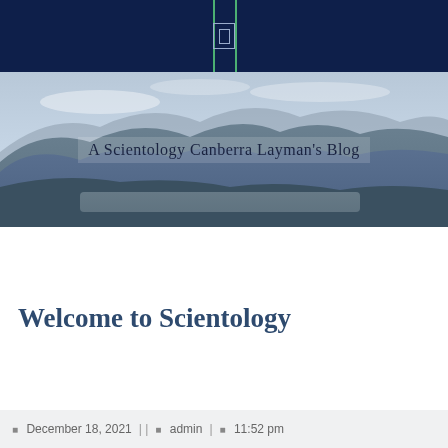A Scientology Canberra Layman's Blog
Welcome to Scientology
December 18, 2021 | | admin | 11:52 pm